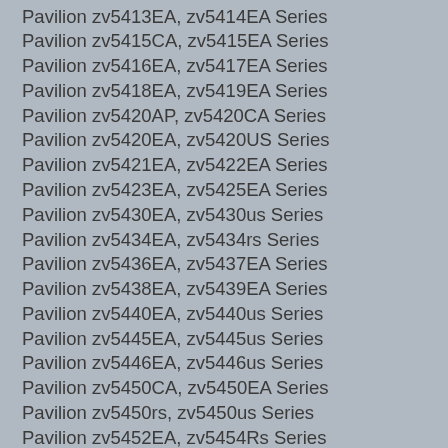Pavilion zv5413EA, zv5414EA Series
Pavilion zv5415CA, zv5415EA Series
Pavilion zv5416EA, zv5417EA Series
Pavilion zv5418EA, zv5419EA Series
Pavilion zv5420AP, zv5420CA Series
Pavilion zv5420EA, zv5420US Series
Pavilion zv5421EA, zv5422EA Series
Pavilion zv5423EA, zv5425EA Series
Pavilion zv5430EA, zv5430us Series
Pavilion zv5434EA, zv5434rs Series
Pavilion zv5436EA, zv5437EA Series
Pavilion zv5438EA, zv5439EA Series
Pavilion zv5440EA, zv5440us Series
Pavilion zv5445EA, zv5445us Series
Pavilion zv5446EA, zv5446us Series
Pavilion zv5450CA, zv5450EA Series
Pavilion zv5450rs, zv5450us Series
Pavilion zv5452EA, zv5454Rs Series
Pavilion zv5455EA, zv5455us Series
Pavilion zv5456cl, zv5456EA Series
Pavilion zv5457EA, zv5458EA Series
Pavilion zv5460EA, zv5460us Series